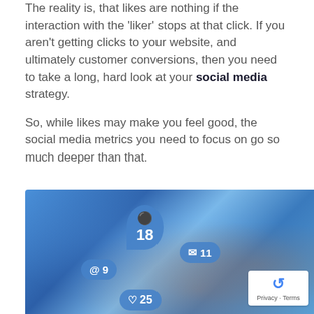The reality is, that likes are nothing if the interaction with the 'liker' stops at that click. If you aren't getting clicks to your website, and ultimately customer conversions, then you need to take a long, hard look at your social media strategy.

So, while likes may make you feel good, the social media metrics you need to focus on go so much deeper than that.
[Figure (photo): Hands typing on a keyboard with floating social media notification bubbles showing numbers: 18 (person icon), 11 (envelope/message icon), 9 (@ mention icon), 25 (heart/like icon). Blue glowing digital overlay effect. reCAPTCHA Privacy/Terms badge in bottom right corner.]